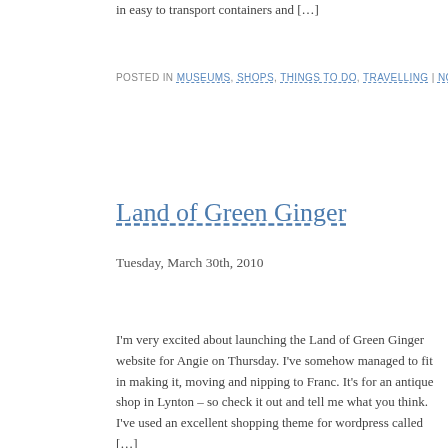in easy to transport containers and […]
POSTED IN MUSEUMS, SHOPS, THINGS TO DO, TRAVELLING | NO COMMENTS
Land of Green Ginger
Tuesday, March 30th, 2010
I'm very excited about launching the Land of Green Ginger website for Angie on Thursday. I've somehow managed to fit in making it, moving and nipping to Franc. It's for an antique shop in Lynton – so check it out and tell me what you think. I've used an excellent shopping theme for wordpress called […]
POSTED IN SHOPS | NO COMMENTS »